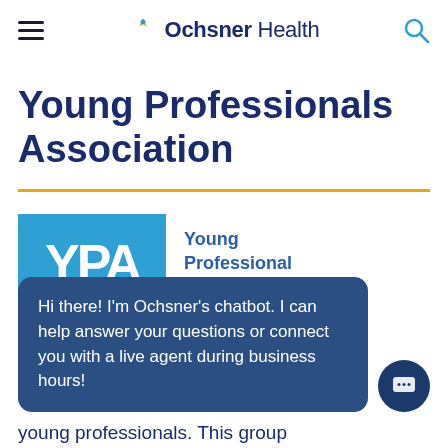Ochsner Health
Young Professionals Association
[Figure (logo): YPA - Young Professional Association logo with blue square background containing white YPA letters, and text 'Young Professional Association' to the right]
Young Professionals Association (YPA)
Hi there! I'm Ochsner's chatbot. I can help answer your questions or connect you with a live agent during business hours!
young professionals. This group